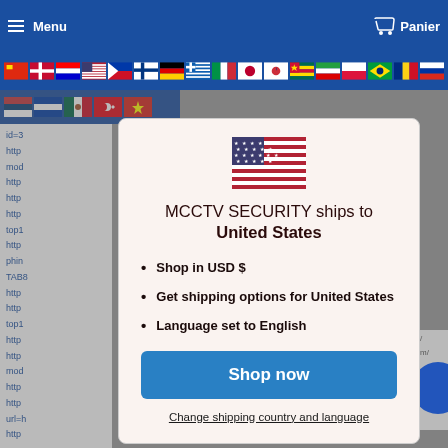Menu  Panier
[Figure (screenshot): Row of country flag icons in navigation bar]
id=3
http
mod
http
http
http
top1
http
phin
TAB8
http
http
top1
http
http
mod
http
http
url=h
http
[Figure (illustration): US flag icon shown in modal dialog]
MCCTV SECURITY ships to United States
Shop in USD $
Get shipping options for United States
Language set to English
Shop now
Change shipping country and language